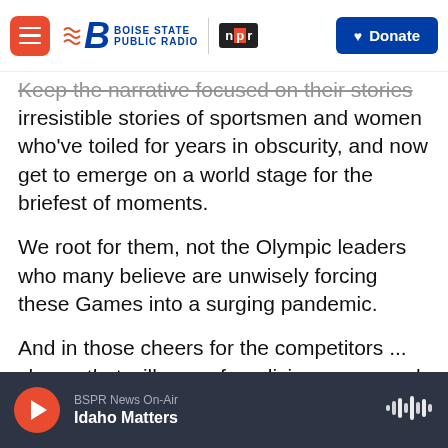Boise State Public Radio | NPR | Donate
Keep the narrative focused on their stories irresistible stories of sportsmen and women who've toiled for years in obscurity, and now get to emerge on a world stage for the briefest of moments.
We root for them, not the Olympic leaders who many believe are unwisely forcing these Games into a surging pandemic.
And in those cheers for the competitors ... cheers that will come from living rooms and not the empty, lifeless Olympic stadiums ... these Games are exactly the same as they've always been.
BSPR News On-Air | Idaho Matters